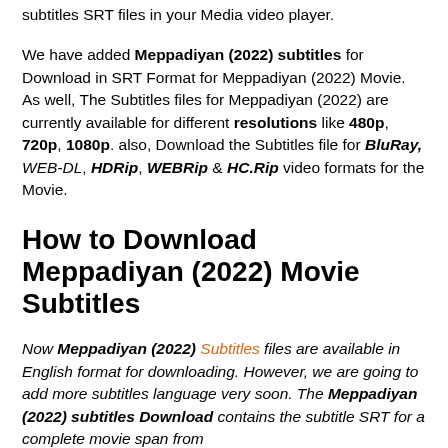subtitles SRT files in your Media video player.
We have added Meppadiyan (2022) subtitles for Download in SRT Format for Meppadiyan (2022) Movie. As well, The Subtitles files for Meppadiyan (2022) are currently available for different resolutions like 480p, 720p, 1080p. also, Download the Subtitles file for BluRay, WEB-DL, HDRip, WEBRip & HC.Rip video formats for the Movie.
How to Download Meppadiyan (2022) Movie Subtitles
Now Meppadiyan (2022) Subtitles files are available in English format for downloading. However, we are going to add more subtitles language very soon. The Meppadiyan (2022) subtitles Download contains the subtitle SRT for a complete movie span from